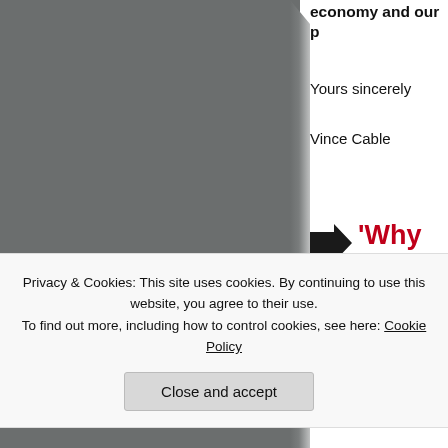[Figure (photo): Grey photograph or image on the left side of the page with torn paper edge effect]
economy and our p
Yours sincerely
Vince Cable
'Why Libera Surrey Hasle
Posted: April 1
Tags: Badsho
Privacy & Cookies: This site uses cookies. By continuing to use this website, you agree to their use.
To find out more, including how to control cookies, see here: Cookie Policy
Close and accept